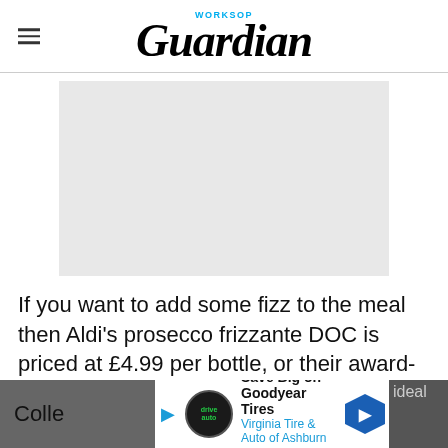Worksop Guardian
[Figure (photo): Gray placeholder image rectangle]
If you want to add some fizz to the meal then Aldi's prosecco frizzante DOC is priced at £4.99 per bottle, or their award-winning Exquisite Colle... ideal...
[Figure (other): Advertisement bar: Save Big on Goodyear Tires - Virginia Tire & Auto of Ashburn ...]